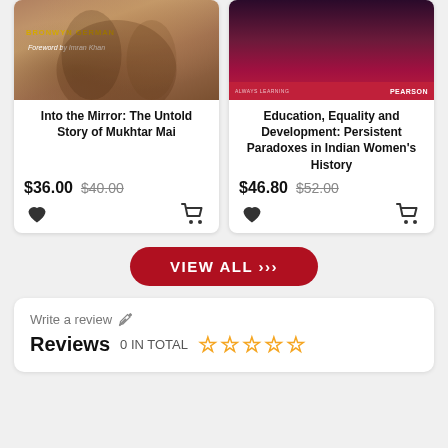[Figure (illustration): Book cover: Into the Mirror: The Untold Story of Mukhtar Mai. Brown stone texture with author name in gold and italic foreword credit.]
Into the Mirror: The Untold Story of Mukhtar Mai
$36.00  $40.00
[Figure (illustration): Book cover: Education, Equality and Development: Persistent Paradoxes in Indian Women's History. Pearson publisher, dark red/purple gradient.]
Education, Equality and Development: Persistent Paradoxes in Indian Women's History
$46.80  $52.00
VIEW ALL >>>
Write a review
Reviews  0 IN TOTAL